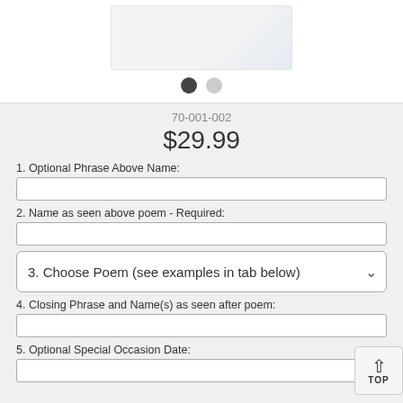[Figure (photo): Product image of a silver/metallic double photo frame, partially visible at top of page, with navigation dots below]
70-001-002
$29.99
1. Optional Phrase Above Name:
2. Name as seen above poem - Required:
3. Choose Poem (see examples in tab below)
4. Closing Phrase and Name(s) as seen after poem:
5. Optional Special Occasion Date: